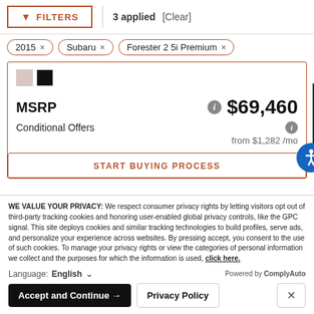FILTERS | 3 applied [Clear]
2015 ×
Subaru ×
Forester 2 5i Premium ×
MSRP  $69,460
Conditional Offers
from $1,282 /mo
START BUYING PROCESS
WE VALUE YOUR PRIVACY: We respect consumer privacy rights by letting visitors opt out of third-party tracking cookies and honoring user-enabled global privacy controls, like the GPC signal. This site deploys cookies and similar tracking technologies to build profiles, serve ads, and personalize your experience across websites. By pressing accept, you consent to the use of such cookies. To manage your privacy rights or view the categories of personal information we collect and the purposes for which the information is used, click here.
Language: English
Powered by ComplyAuto
Accept and Continue →
Privacy Policy
×